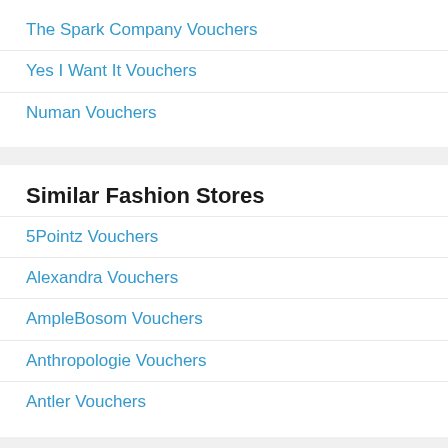The Spark Company Vouchers
Yes I Want It Vouchers
Numan Vouchers
Similar Fashion Stores
5Pointz Vouchers
Alexandra Vouchers
AmpleBosom Vouchers
Anthropologie Vouchers
Antler Vouchers